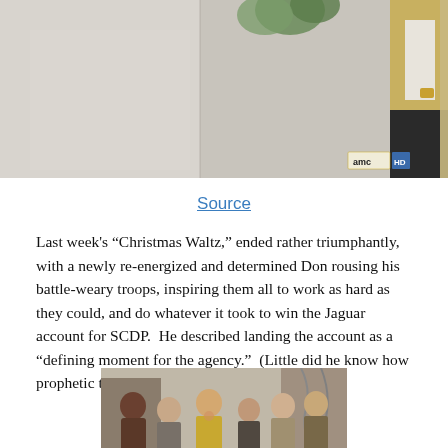[Figure (photo): Partial view of a woman in a yellow cardigan holding a white cane or pole, with a plant visible in background. AMC channel watermark visible in lower right corner.]
Source
Last week’s “Christmas Waltz,” ended rather triumphantly, with a newly re-energized and determined Don rousing his battle-weary troops, inspiring them all to work as hard as they could, and do whatever it took to win the Jaguar account for SCDP.  He described landing the account as a “defining moment for the agency.”  (Little did he know how prophetic those words would end up being.)
[Figure (photo): Group of people in 1960s office attire appearing to celebrate or laugh together in a hallway or office setting.]